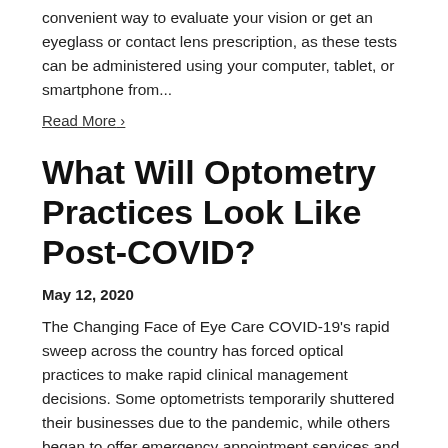convenient way to evaluate your vision or get an eyeglass or contact lens prescription, as these tests can be administered using your computer, tablet, or smartphone from...
Read More ›
What Will Optometry Practices Look Like Post-COVID?
May 12, 2020
The Changing Face of Eye Care COVID-19's rapid sweep across the country has forced optical practices to make rapid clinical management decisions. Some optometrists temporarily shuttered their businesses due to the pandemic, while others began to offer emergency appointment services and telehealth. As mandatory restrictions begin to lift in many...
Read More ›
Why You Shouldn't Visit the ER